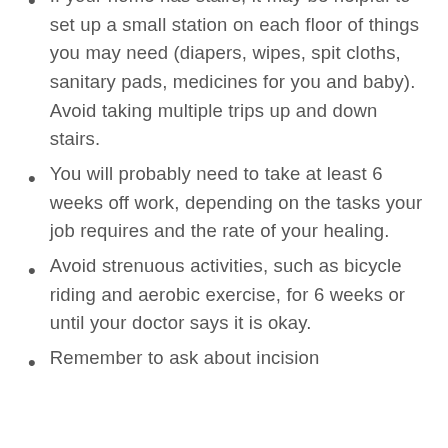If your home has stairs, it may be helpful to set up a small station on each floor of things you may need (diapers, wipes, spit cloths, sanitary pads, medicines for you and baby). Avoid taking multiple trips up and down stairs.
You will probably need to take at least 6 weeks off work, depending on the tasks your job requires and the rate of your healing.
Avoid strenuous activities, such as bicycle riding and aerobic exercise, for 6 weeks or until your doctor says it is okay.
Remember to ask about incision